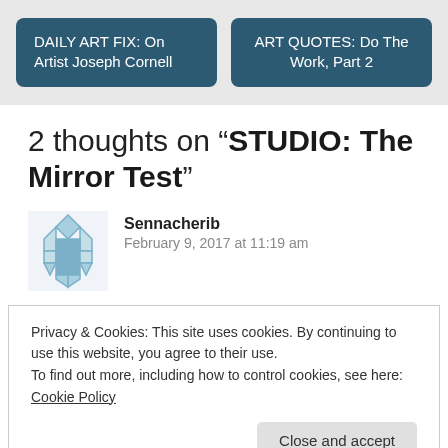DAILY ART FIX: On Artist Joseph Cornell
ART QUOTES: Do The Work, Part 2
2 thoughts on “STUDIO: The Mirror Test”
Sennacherib
February 9, 2017 at 11:19 am
Privacy & Cookies: This site uses cookies. By continuing to use this website, you agree to their use.
To find out more, including how to control cookies, see here: Cookie Policy
Close and accept
Richard Bledsoe